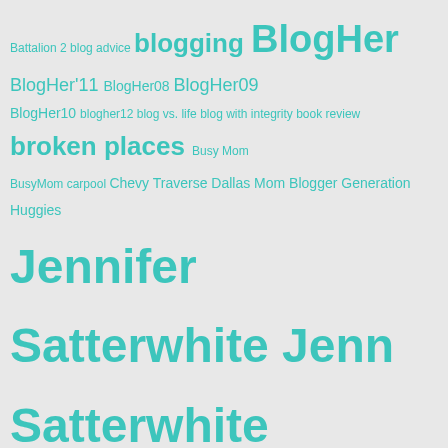Battalion 2 blog advice blogging BlogHer BlogHer'11 BlogHer08 BlogHer09 BlogHer10 blogher12 blog vs. life blog with integrity book review broken places Busy Mom BusyMom carpool Chevy Traverse Dallas Mom Blogger Generation Huggies Jennifer Satterwhite Jenn Satterwhite mommyblogger mommybloggers MommyBlogging Mommy Madness Mommy Needs Coffee NaBloPoMo Nintendo Parenting Post swag theMotherhood.com Wii Wii Fit writing
Categories
Select Category
Archives